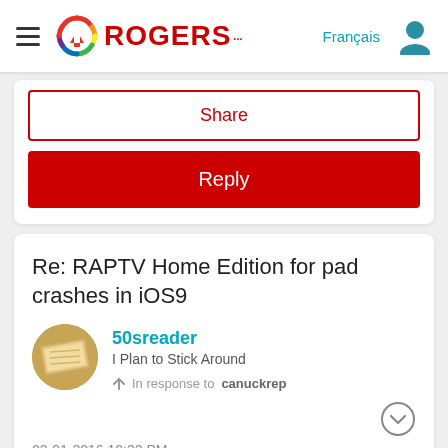Rogers — Français [nav bar with hamburger menu, Rogers logo, Français link, user icon]
Share
Reply
Re: RAPTV Home Edition for pad crashes in iOS9
50sreader
I Plan to Stick Around
In response to canuckrep
02-01-2016 10:32 PM